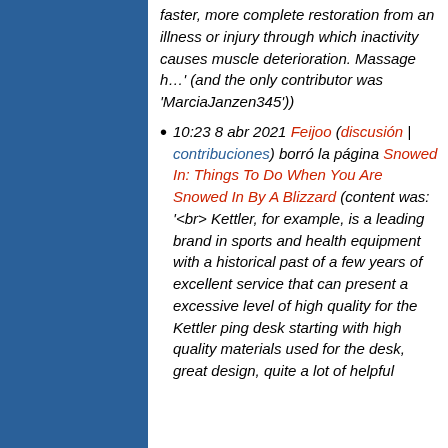faster, more complete restoration from an illness or injury through which inactivity causes muscle deterioration. Massage h…' (and the only contributor was 'MarciaJanzen345'))
10:23 8 abr 2021 Feijoo (discusión | contribuciones) borró la página Snowed In: Things To Do When You Are Snowed In By A Blizzard (content was: '<br> Kettler, for example, is a leading brand in sports and health equipment with a historical past of a few years of excellent service that can present a excessive level of high quality for the Kettler ping desk starting with high quality materials used for the desk, great design, quite a lot of helpful